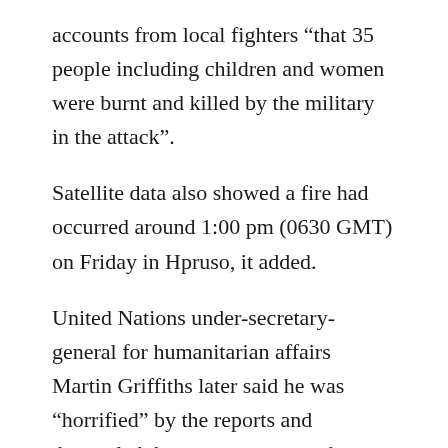accounts from local fighters “that 35 people including children and women were burnt and killed by the military in the attack”.
Satellite data also showed a fire had occurred around 1:00 pm (0630 GMT) on Friday in Hpruso, it added.
United Nations under-secretary-general for humanitarian affairs Martin Griffiths later said he was “horrified” by the reports and demanded the government conduct an investigation.
Save the Children, which has a staff of around 900 working in Myanmar, later said it had